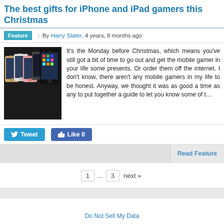The best gifts for iPhone and iPad gamers this Christmas
Feature | By Harry Slater, 4 years, 8 months ago
[Figure (photo): Multiple iPhone 7 models in different colors displayed side by side]
It's the Monday before Christmas, which means you've still got a bit of time to go out and get the mobile gamer in your life some presents. Or order them off the internet. I don't know, there aren't any mobile gamers in my life to be honest. Anyway, we thought it was as good a time as any to put together a guide to let you know some of t…
Tweet    Like 0
Read Feature
1 ... 3 next »
Do Not Sell My Data